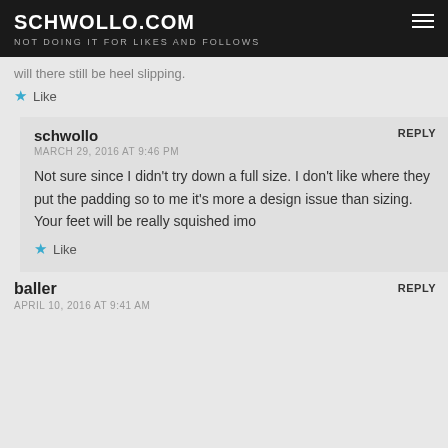SCHWOLLO.COM
NOT DOING IT FOR LIKES AND FOLLOWS
will there still be heel slipping.
Like
schwollo
MARCH 29, 2016 AT 9:46 PM
Not sure since I didn't try down a full size. I don't like where they put the padding so to me it's more a design issue than sizing. Your feet will be really squished imo
Like
baller
APRIL 10, 2016 AT 9:41 AM